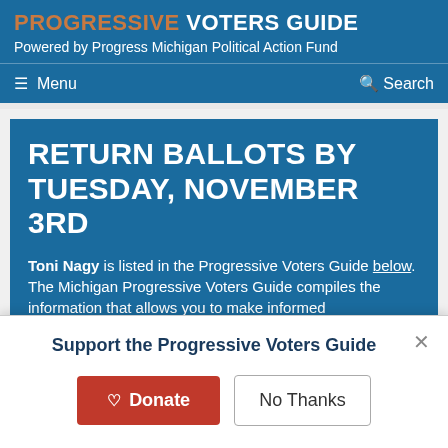PROGRESSIVE VOTERS GUIDE
Powered by Progress Michigan Political Action Fund
Menu  Search
RETURN BALLOTS BY TUESDAY, NOVEMBER 3RD
Toni Nagy is listed in the Progressive Voters Guide below.
The Michigan Progressive Voters Guide compiles the information that allows you to make informed
Support the Progressive Voters Guide
Donate  No Thanks